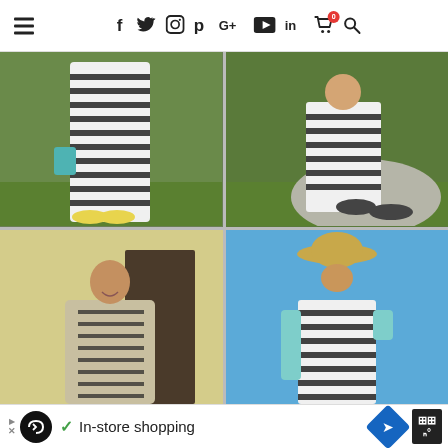Navigation bar with hamburger menu and social/nav icons: Facebook, Twitter, Instagram, Pinterest, Google+, YouTube, LinkedIn, Cart (0), Search
[Figure (photo): Woman wearing a black-and-white striped maxi dress, holding a teal bag, standing outdoors on grass near bushes, wearing yellow wedge sandals]
[Figure (photo): Woman in a black-and-white striped wide-leg pants/dress outfit sitting on a large rock outdoors, wearing dark flats]
[Figure (photo): Woman in a black-and-white striped dress with a light beige cardigan, smiling indoors in a classroom/office setting]
[Figure (photo): Woman in a black-and-white striped dress with a mint/teal cardigan and straw hat, standing outdoors against a blue sky]
Ad: In-store shopping